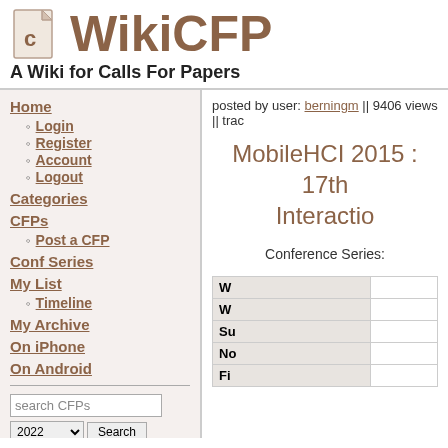[Figure (logo): WikiCFP logo with document icon and stylized text]
A Wiki for Calls For Papers
Home
Login
Register
Account
Logout
Categories
CFPs
Post a CFP
Conf Series
My List
Timeline
My Archive
On iPhone
On Android
posted by user: berningm || 9406 views || trac
MobileHCI 2015 : 17th International Conference on Human-Computer Interaction with Mobile Devices and Services
Conference Series:
| W |  |
| --- | --- |
| W |  |
| Su |  |
| No |  |
| Fi |  |